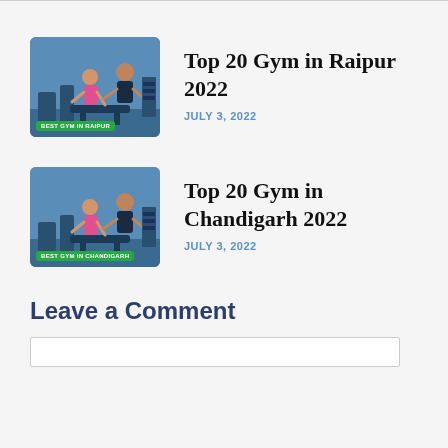[Figure (photo): Gym scene showing two people working out with weights, labeled 'BEST GYM IN RAIPUR' at bottom]
Top 20 Gym in Raipur 2022
JULY 3, 2022
[Figure (photo): Gym scene showing two people working out with weights, labeled 'BEST GYM IN CHANDIGARH' at bottom]
Top 20 Gym in Chandigarh 2022
JULY 3, 2022
Leave a Comment